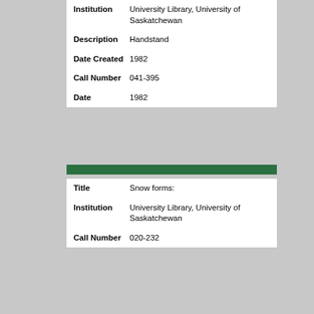| Field | Value |
| --- | --- |
| Institution | University Library, University of Saskatchewan |
| Description | Handstand |
| Date Created | 1982 |
| Call Number | 041-395 |
| Date | 1982 |
| Field | Value |
| --- | --- |
| Title | Snow forms: |
| Institution | University Library, University of Saskatchewan |
| Call Number | 020-232 |